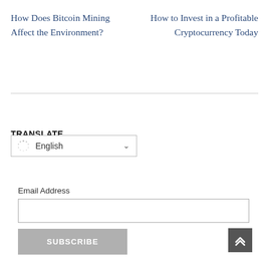How Does Bitcoin Mining Affect the Environment?
How to Invest in a Profitable Cryptocurrency Today
TRANSLATE
English
Email Address
SUBSCRIBE